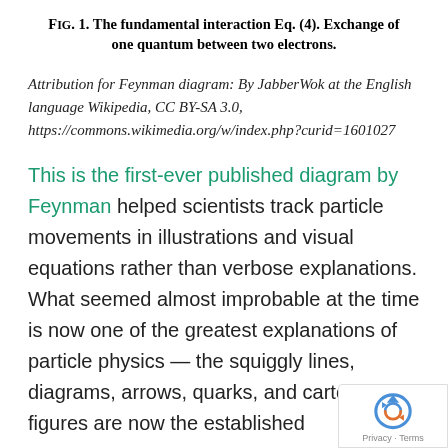FIG. 1. The fundamental interaction Eq. (4). Exchange of one quantum between two electrons.
Attribution for Feynman diagram: By JabberWok at the English language Wikipedia, CC BY-SA 3.0, https://commons.wikimedia.org/w/index.php?curid=1601027
This is the first-ever published diagram by Feynman helped scientists track particle movements in illustrations and visual equations rather than verbose explanations. What seemed almost improbable at the time is now one of the greatest explanations of particle physics — the squiggly lines, diagrams, arrows, quarks, and cartoonish figures are now the established